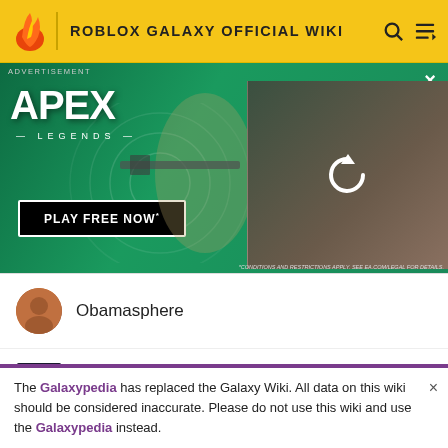ROBLOX GALAXY OFFICIAL WIKI
[Figure (screenshot): Apex Legends advertisement banner with character holding sniper rifle on green background, 'PLAY FREE NOW' button]
Obamasphere
Obliterator
The Galaxypedia has replaced the Galaxy Wiki. All data on this wiki should be considered inaccurate. Please do not use this wiki and use the Galaxypedia instead.